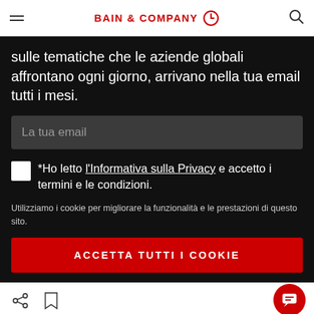BAIN & COMPANY
sulle tematiche che le aziende globali affrontano ogni giorno, arrivano nella tua email tutti i mesi.
La tua email
*Ho letto l'Informativa sulla Privacy e accetto i termini e le condizioni.
Utilizziamo i cookie per migliorare la funzionalità e le prestazioni di questo sito.
ACCETTA TUTTI I COOKIE